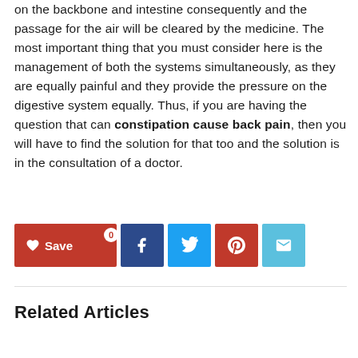on the backbone and intestine consequently and the passage for the air will be cleared by the medicine. The most important thing that you must consider here is the management of both the systems simultaneously, as they are equally painful and they provide the pressure on the digestive system equally. Thus, if you are having the question that can constipation cause back pain, then you will have to find the solution for that too and the solution is in the consultation of a doctor.
[Figure (infographic): Social sharing bar with Save (heart icon, count 0), Facebook, Twitter, Pinterest, and Email buttons]
Related Articles